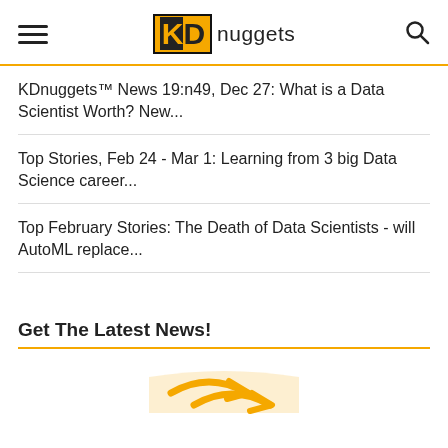KDnuggets
KDnuggets™ News 19:n49, Dec 27: What is a Data Scientist Worth? New...
Top Stories, Feb 24 - Mar 1: Learning from 3 big Data Science career...
Top February Stories: The Death of Data Scientists - will AutoML replace...
Get The Latest News!
[Figure (illustration): Stylized golden envelope/arrow icon at bottom of page]